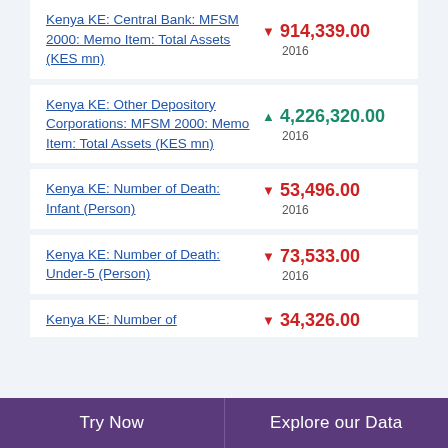Kenya KE: Central Bank: MFSM 2000: Memo Item: Total Assets (KES mn)
Kenya KE: Other Depository Corporations: MFSM 2000: Memo Item: Total Assets (KES mn)
Kenya KE: Number of Death: Infant (Person)
Kenya KE: Number of Death: Under-5 (Person)
Kenya KE: Number of
Try Now | Explore our Data